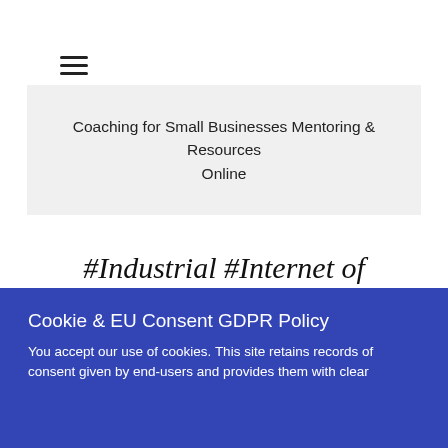≡
Coaching for Small Businesses Mentoring & Resources Online
#Industrial #Internet of #Things #(IIoT)
Cookie & EU Consent GDPR Policy
You accept our use of cookies. This site retains records of consent given by end-users and provides them with clear